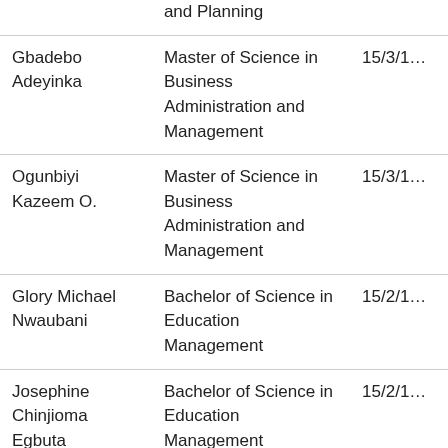| Name | Programme | Date |
| --- | --- | --- |
|  | and Planning |  |
| Gbadebo Adeyinka | Master of Science in Business Administration and Management | 15/3/1… |
| Ogunbiyi Kazeem O. | Master of Science in Business Administration and Management | 15/3/1… |
| Glory Michael Nwaubani | Bachelor of Science in Education Management | 15/2/1… |
| Josephine Chinjioma Egbuta | Bachelor of Science in Education Management | 15/2/1… |
| Balogun Ganiyu Adeniyi | Master of Science in Economics | 15/2/1… |